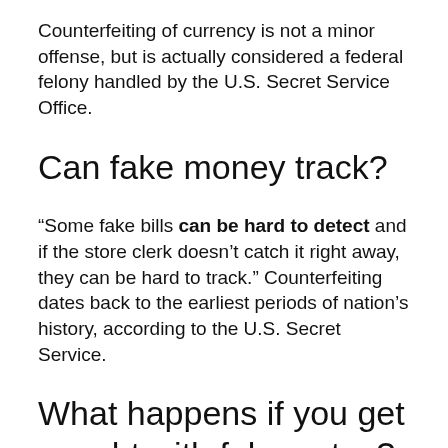Counterfeiting of currency is not a minor offense, but is actually considered a federal felony handled by the U.S. Secret Service Office.
Can fake money track?
“Some fake bills can be hard to detect and if the store clerk doesn’t catch it right away, they can be hard to track.” Counterfeiting dates back to the earliest periods of nation’s history, according to the U.S. Secret Service.
What happens if you get caught with fake notes?
Per United States law, if you are caught trying to pass off fake money as real money